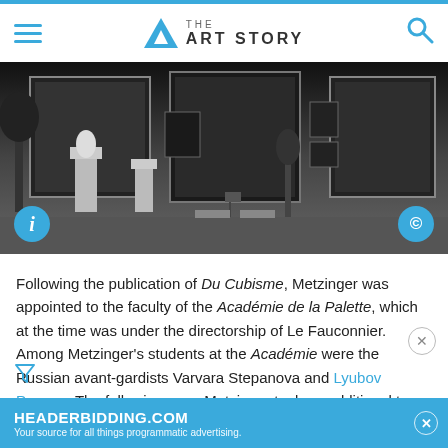THE ART STORY
[Figure (photo): Black and white photograph of an art gallery interior showing paintings hung on walls, sculptures on pedestals, with info (i) and copyright (C) buttons overlaid in the lower corners]
Following the publication of Du Cubisme, Metzinger was appointed to the faculty of the Académie de la Palette, which at the time was under the directorship of Le Fauconnier. Among Metzinger's students at the Académie were the Russian avant-gardists Varvara Stepanova and Lyubov Popova. The following year, Metzinger took on additional teaching positions at the Académie Arenius and the Académie de la Grande Chaumière. He continued to exhibit in the p... art of the famous